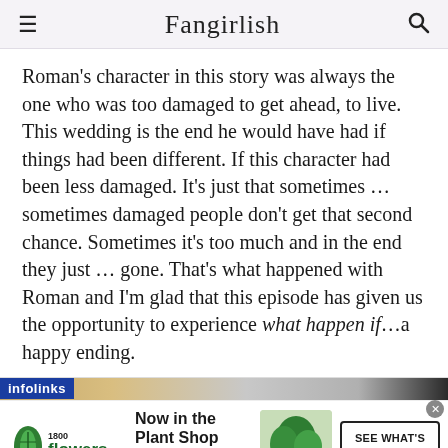Fangirlish
Roman's character in this story was always the one who was too damaged to get ahead, to live. This wedding is the end he would have had if things had been different. If this character had been less damaged. It's just that sometimes … sometimes damaged people don't get that second chance. Sometimes it's too much and in the end they just … gone. That's what happened with Roman and I'm glad that this episode has given us the opportunity to experience what happen if…a happy ending.
[Figure (screenshot): Advertisement banner from 1-800-Flowers.com promoting 'Now in the Plant Shop - Fresh picks for summer' with a plant image and 'SEE WHAT'S NEW' call-to-action button, with infolinks label at top.]